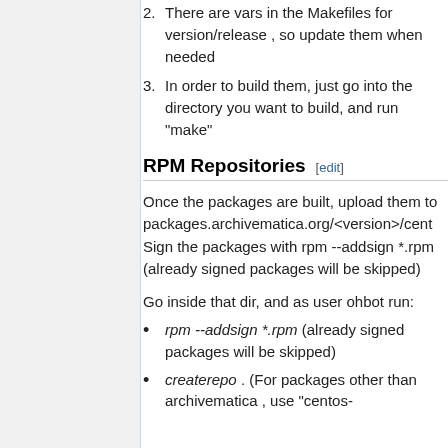2. There are vars in the Makefiles for version/release , so update them when needed
3. In order to build them, just go into the directory you want to build, and run "make"
RPM Repositories [edit]
Once the packages are built, upload them to packages.archivematica.org/<version>/cent Sign the packages with rpm --addsign *.rpm (already signed packages will be skipped)
Go inside that dir, and as user ohbot run:
rpm --addsign *.rpm (already signed packages will be skipped)
createrepo . (For packages other than archivematica , use "centos-